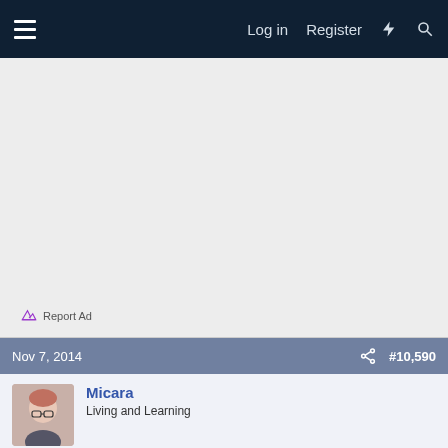Log in  Register
[Figure (other): Advertisement placeholder area (gray background), with 'Report Ad' link at bottom left]
Nov 7, 2014   #10,590
Micara
Living and Learning
Report Ad